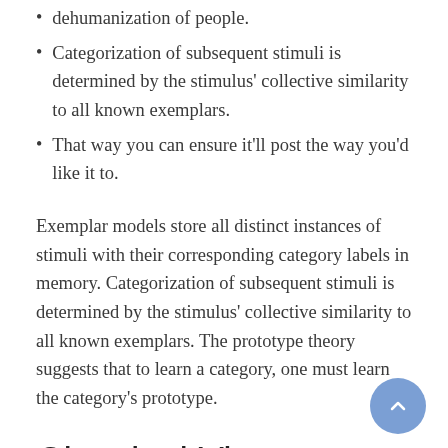dehumanization of people.
Categorization of subsequent stimuli is determined by the stimulus' collective similarity to all known exemplars.
That way you can ensure it'll post the way you'd like it to.
Exemplar models store all distinct instances of stimuli with their corresponding category labels in memory. Categorization of subsequent stimuli is determined by the stimulus' collective similarity to all known exemplars. The prototype theory suggests that to learn a category, one must learn the category's prototype.
Classical View
The classical view of categories first appeared in the context of Western Philosophy in the work of Plato, who, in his Statesman dialogue, introduces the approach of grouping